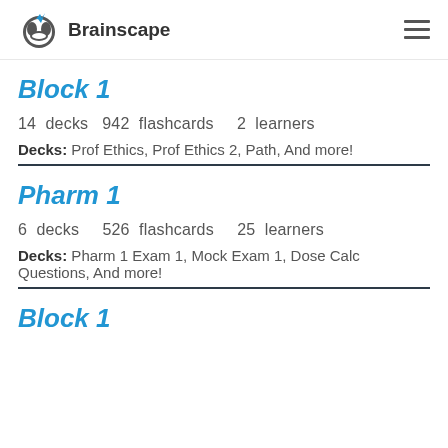Brainscape
Block 1
14 decks   942 flashcards   2 learners
Decks: Prof Ethics, Prof Ethics 2, Path, And more!
Pharm 1
6 decks   526 flashcards   25 learners
Decks: Pharm 1 Exam 1, Mock Exam 1, Dose Calc Questions, And more!
Block 1